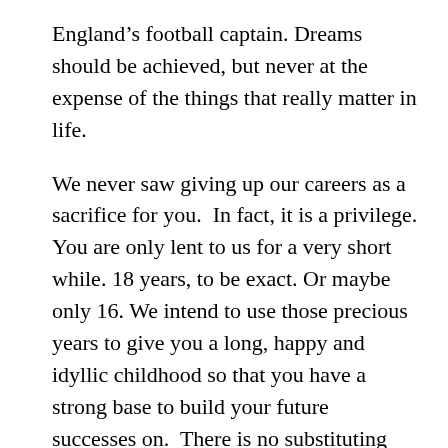England's football captain. Dreams should be achieved, but never at the expense of the things that really matter in life.
We never saw giving up our careers as a sacrifice for you.  In fact, it is a privilege. You are only lent to us for a very short while. 18 years, to be exact. Or maybe only 16. We intend to use those precious years to give you a long, happy and idyllic childhood so that you have a strong base to build your future successes on.  There is no substituting these strong foundations. They are what that make you strong on the inside. Believe me, I know all about it. I still run home to Portsmouth, to my parents' home, when the going gets tough. I still call on my brothers. And most of all, I only have to close my